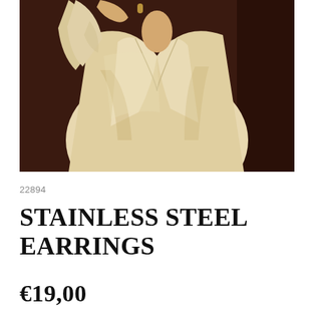[Figure (photo): A woman wearing a cream/ivory satin V-neck blouse, arm raised, with a gold earring visible. Dark brown background.]
22894
STAINLESS STEEL EARRINGS
€19,00